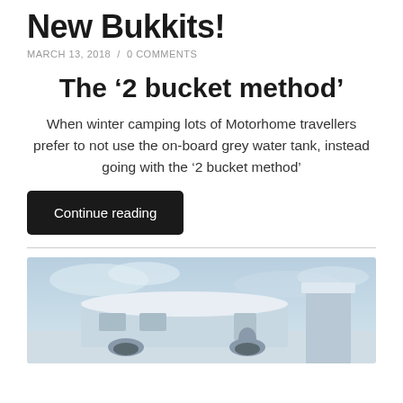New Bukkits!
MARCH 13, 2018  /  0 COMMENTS
The ‘2 bucket method’
When winter camping lots of Motorhome travellers prefer to not use the on-board grey water tank, instead going with the ‘2 bucket method’
Continue reading
[Figure (photo): A motorhome or caravan covered in snow in a wintry outdoor scene with blue-tinted sky]